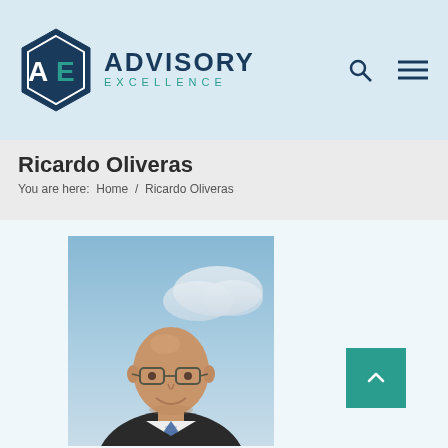[Figure (logo): Advisory Excellence logo with hexagon icon and text 'ADVISORY EXCELLENCE']
Ricardo Oliveras
You are here:  Home  /  Ricardo Oliveras
[Figure (photo): Professional headshot of Ricardo Oliveras, a bald man with glasses wearing a suit and tie, photographed outdoors against a sky background]